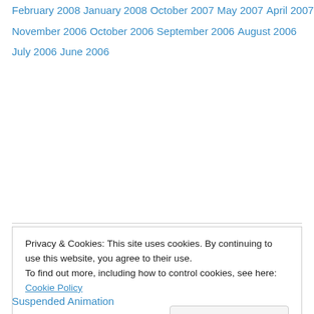February 2008
January 2008
October 2007
May 2007
April 2007
November 2006
October 2006
September 2006
August 2006
July 2006
June 2006
Privacy & Cookies: This site uses cookies. By continuing to use this website, you agree to their use. To find out more, including how to control cookies, see here: Cookie Policy
Suspended Animation